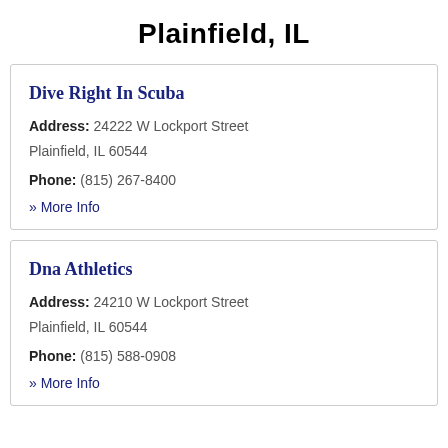Plainfield, IL
Dive Right In Scuba
Address: 24222 W Lockport Street Plainfield, IL 60544
Phone: (815) 267-8400
» More Info
Dna Athletics
Address: 24210 W Lockport Street Plainfield, IL 60544
Phone: (815) 588-0908
» More Info